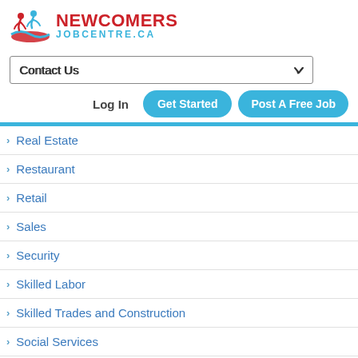[Figure (logo): Newcomers Job Centre logo with stylized figures and wave graphic in red and blue]
Contact Us
Log In | Get Started | Post A Free Job
Real Estate
Restaurant
Retail
Sales
Security
Skilled Labor
Skilled Trades and Construction
Social Services
Supply Chain
Tech